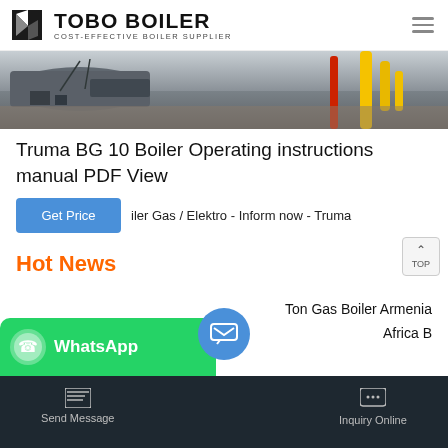TOBO BOILER COST-EFFECTIVE BOILER SUPPLIER
[Figure (photo): Industrial boiler equipment photograph showing boiler machinery, pipes, yellow gas pipes, and industrial components outdoors]
Truma BG 10 Boiler Operating instructions manual PDF View
Boiler Gas / Elektro - Inform now - Truma
Get Price
Hot News
Ton Gas Boiler Armenia
Africa B
Send Message  Inquiry Online